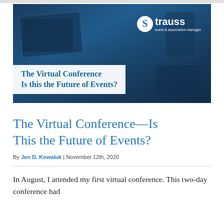[Figure (photo): Hero banner image showing laptop and tablet devices on a desk with a dark blue overlay. Strauss event & association management logo in top right. White translucent box with article title text overlaid at bottom left.]
The Virtual Conference—Is This the Future of Events?
By Jen D. Kowaluk | November 12th, 2020
In August, I attended my first virtual conference. This two-day conference had